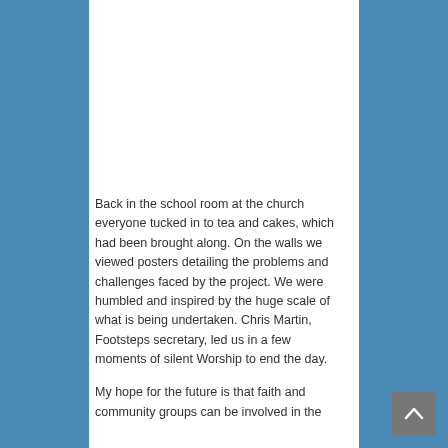[Figure (photo): People seated around a table in a church school room; a presenter stands at the front near a window, a red object is visible on the table.]
Back in the school room at the church everyone tucked in to tea and cakes, which had been brought along. On the walls we viewed posters detailing the problems and challenges faced by the project. We were humbled and inspired by the huge scale of what is being undertaken. Chris Martin, Footsteps secretary, led us in a few moments of silent Worship to end the day.
My hope for the future is that faith and community groups can be involved in the